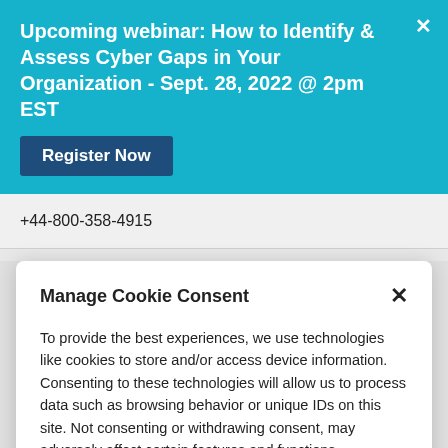Upcoming webinar: How to Identify & Assess Cyber Gaps in Your Organization - Sept. 28, 2022 @ 2pm EST
Register Now
+44-800-358-4915
Manage Cookie Consent
To provide the best experiences, we use technologies like cookies to store and/or access device information. Consenting to these technologies will allow us to process data such as browsing behavior or unique IDs on this site. Not consenting or withdrawing consent, may adversely affect certain features and functions.
ACCEPT
Opt-out preferences   Privacy Policy